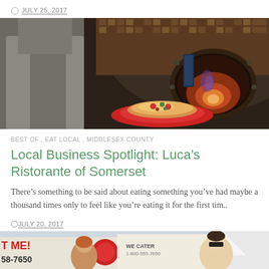JULY 25, 2017
[Figure (photo): Person in gray apron holding a pizza on a red plate in front of a large wood-fired dome oven with glowing interior]
BEST OF , EAT LOCAL , MIDDLESEX COUNTY
Local Business Spotlight: Luca's Ristorante of Somerset
There's something to be said about eating something you've had maybe a thousand times only to feel like you're eating it for the first tim..
JULY 20, 2017
[Figure (photo): Street food festival scene with food trucks, signage reading 'T ME!' and '58-7650' and 'WE CATER', people including a woman and a man with sunglasses]